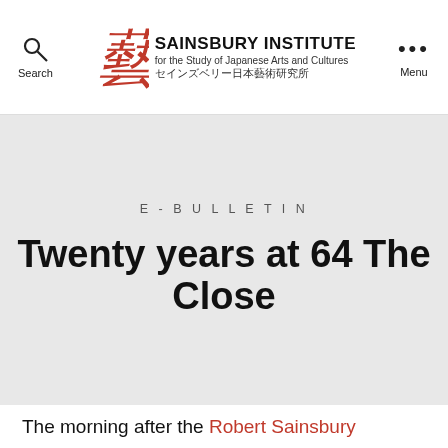Sainsbury Institute for the Study of Japanese Arts and Cultures セインズベリー日本藝術研究所
E-BULLETIN
Twenty years at 64 The Close
The morning after the Robert Sainsbury